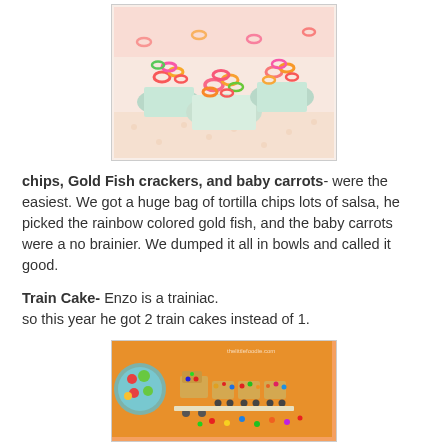[Figure (photo): Colorful cereal loops (fruit loops style) in light blue and white polka-dot cupcake liners/bowls arranged on a surface]
chips, Gold Fish crackers, and baby carrots- were the easiest. We got a huge bag of tortilla chips lots of salsa, he picked the rainbow colored gold fish, and the baby carrots were a no brainier. We dumped it all in bowls and called it good.
Train Cake- Enzo is a trainiac.
so this year he got 2 train cakes instead of 1.
[Figure (photo): Train cake made from graham crackers/cookies decorated with colorful candies on an orange background, with a fruit platter visible on the side]